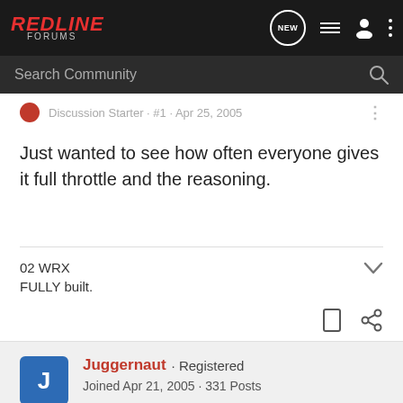RedLine Forums
Search Community
Just wanted to see how often everyone gives it full throttle and the reasoning.
02 WRX
FULLY built.
Juggernaut · Registered
Joined Apr 21, 2005 · 331 Posts
#2 · Apr 25, 2005